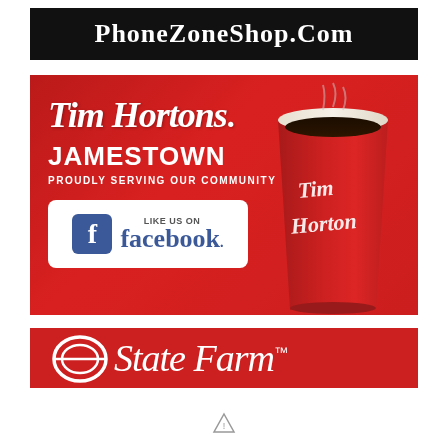[Figure (logo): PhoneZoneShop.com banner - white bold text on black background]
[Figure (advertisement): Tim Hortons Jamestown advertisement on red background - script logo, JAMESTOWN PROUDLY SERVING OUR COMMUNITY text, Facebook Like Us On button, and Tim Hortons branded red cup with coffee]
[Figure (logo): State Farm logo banner - red background with white State Farm script text and oval logo]